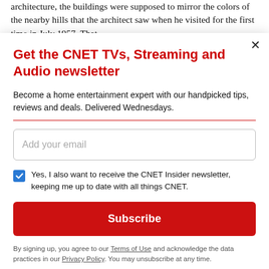architecture, the buildings were supposed to mirror the colors of the nearby hills that the architect saw when he visited for the first time in July 1957. That
Get the CNET TVs, Streaming and Audio newsletter
Become a home entertainment expert with our handpicked tips, reviews and deals. Delivered Wednesdays.
Add your email
Yes, I also want to receive the CNET Insider newsletter, keeping me up to date with all things CNET.
Subscribe
By signing up, you agree to our Terms of Use and acknowledge the data practices in our Privacy Policy. You may unsubscribe at any time.